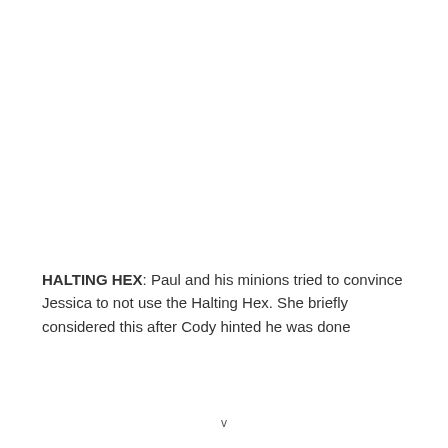HALTING HEX: Paul and his minions tried to convince Jessica to not use the Halting Hex. She briefly considered this after Cody hinted he was done
v